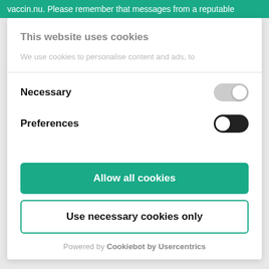vaccin.nu. Please remember that messages from a reputable
This website uses cookies
We use cookies to personalise content and ads, to
Necessary
Preferences
Allow all cookies
Use necessary cookies only
Powered by Cookiebot by Usercentrics